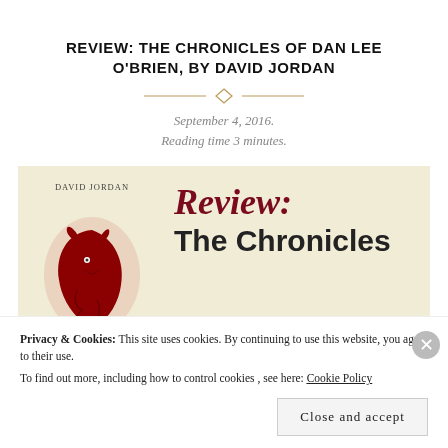REVIEW: THE CHRONICLES OF DAN LEE O'BRIEN, BY DAVID JORDAN
September 4, 2016.
Reading time 3 minutes.
[Figure (illustration): Book review banner with cream/tan background. Left side shows book cover with author name 'David Jordan' in small caps and a decorative red wolf/fox illustration. Right side shows large italic red text 'Review:' and bold black text 'The Chronicles'.]
Privacy & Cookies: This site uses cookies. By continuing to use this website, you agree to their use.
To find out more, including how to control cookies, see here: Cookie Policy
Close and accept